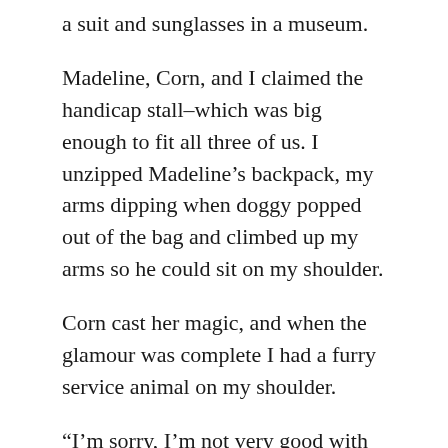a suit and sunglasses in a museum.
Madeline, Corn, and I claimed the handicap stall–which was big enough to fit all three of us. I unzipped Madeline's backpack, my arms dipping when doggy popped out of the bag and climbed up my arms so he could sit on my shoulder.
Corn cast her magic, and when the glamour was complete I had a furry service animal on my shoulder.
“I’m sorry, I’m not very good with animal glamours,” Corn apologized as I skeptically looked Doggy over.